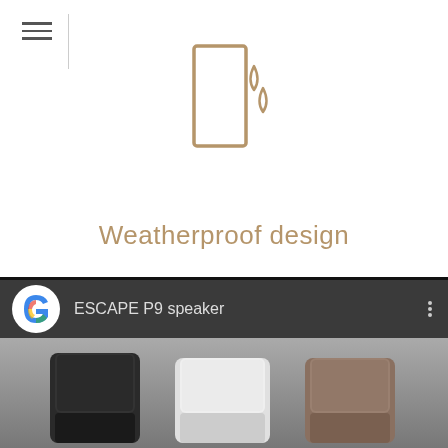[Figure (illustration): Weatherproof icon: outline drawing of a rectangular speaker/panel with two water droplets beside it, in tan/gold color]
Weatherproof design
Stylish grill made out of a multi-filiment, high tenacity polyester yarn with a soft feel and natural material effect. Optimised weave opensess for a crystal clear sound. Elegant and well balanced powder coated die cast aluminum handle and extruded side trims.
[Figure (screenshot): YouTube-style video thumbnail showing 'ESCAPE P9 speaker' with gervi logo and three speaker units (black, white, tan) visible at bottom]